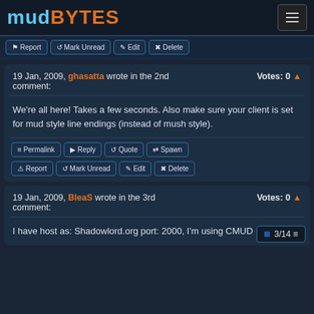MUDBYTES
Report | Mark Unread | Edit | Delete
19 Jan, 2009, ghasatta wrote in the 2nd comment: Votes: 0
We're all here! Takes a few seconds. Also make sure your client is set for mud style line endings (instead of mush style).
Permalink | Reply | Quote | Spawn | Report | Mark Unread | Edit | Delete
19 Jan, 2009, BleaS wrote in the 3rd comment: Votes: 0
I have host as: Shadowlord.org port: 2000, I'm using CMUD
3/14